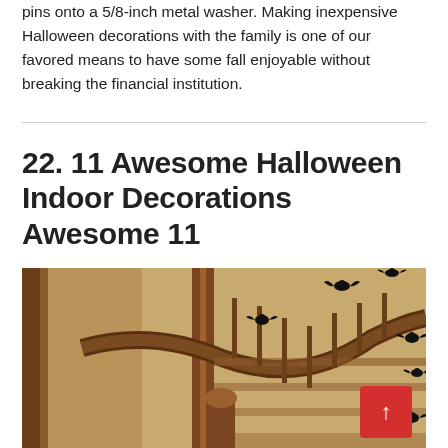pins onto a 5/8-inch metal washer. Making inexpensive Halloween decorations with the family is one of our favored means to have some fall enjoyable without breaking the financial institution.
22. 11 Awesome Halloween Indoor Decorations Awesome 11
[Figure (photo): Interior photo of a wooden staircase banister with small black bat/cat silhouette decorations placed along the railing and steps, warm amber/brown tones.]